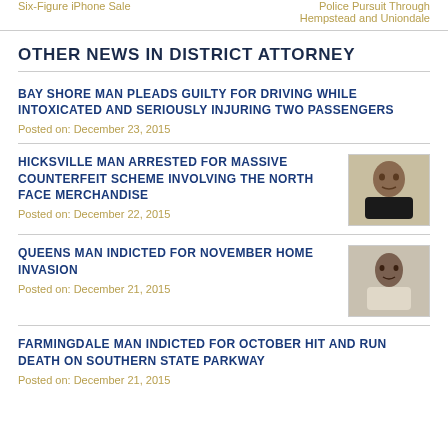Six-Figure iPhone Sale | Police Pursuit Through Hempstead and Uniondale
OTHER NEWS IN DISTRICT ATTORNEY
BAY SHORE MAN PLEADS GUILTY FOR DRIVING WHILE INTOXICATED AND SERIOUSLY INJURING TWO PASSENGERS
Posted on: December 23, 2015
HICKSVILLE MAN ARRESTED FOR MASSIVE COUNTERFEIT SCHEME INVOLVING THE NORTH FACE MERCHANDISE
Posted on: December 22, 2015
QUEENS MAN INDICTED FOR NOVEMBER HOME INVASION
Posted on: December 21, 2015
FARMINGDALE MAN INDICTED FOR OCTOBER HIT AND RUN DEATH ON SOUTHERN STATE PARKWAY
Posted on: December 21, 2015